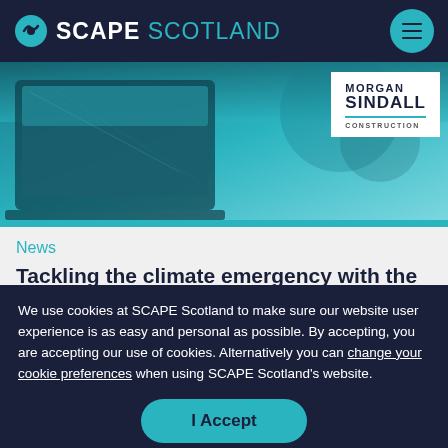SCAPE SCOTLAND
[Figure (screenshot): Hero image showing a laptop on a desk with teal/blue tones, and Morgan Sindall Construction logo overlay on white background]
News
Tackling the climate emergency with the first public procurement route to net zero
We use cookies at SCAPE Scotland to make sure our website user experience is as easy and personal as possible. By accepting, you are accepting our use of cookies. Alternatively you can change your cookie preferences when using SCAPE Scotland's website.
I Accept